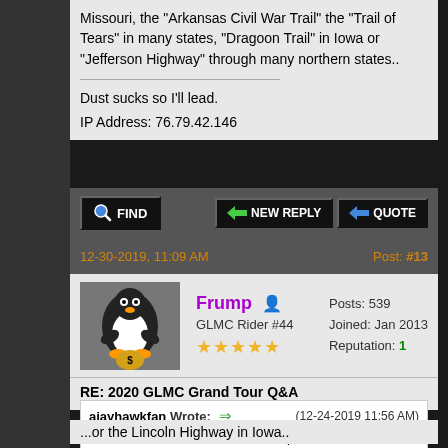Missouri, the "Arkansas Civil War Trail" the "Trail of Tears" in many states, "Dragoon Trail" in Iowa or "Jefferson Highway" through many northern states..
Dust sucks so I'll lead.
IP Address: 76.79.42.146
12-30-2019, 11:09 AM	Post: #13
Frump
GLMC Rider #44
Posts: 539
Joined: Jan 2013
Reputation: 1
RE: 2020 GLMC Grand Tour Q&A
ajayhawkfan Wrote: (12-24-2019 11:56 AM)
Are historic trails allowable? Examples: the "U.S Grant Trail" in Missouri, the "Arkansas Civil War Trail" the "Trail of Tears" in many states, "Dragoon Trail" in Iowa or "Jefferson Highway" through many northern states..
...or the Lincoln Highway in Iowa..